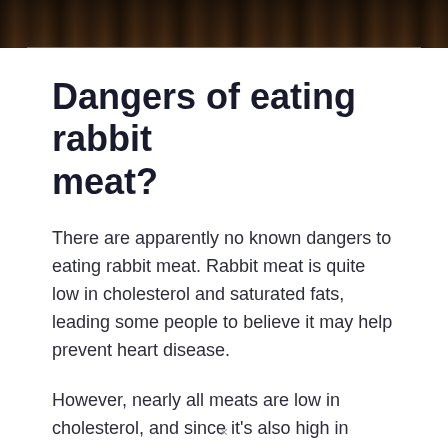[Figure (photo): A photograph of rabbit meat in a dark, rustic setting — only the bottom strip of the image is visible at the top of the page]
Dangers of eating rabbit meat?
There are apparently no known dangers to eating rabbit meat. Rabbit meat is quite low in cholesterol and saturated fats, leading some people to believe it may help prevent heart disease.
However, nearly all meats are low in cholesterol, and since it's also high in healthy fats, there's little merit
×